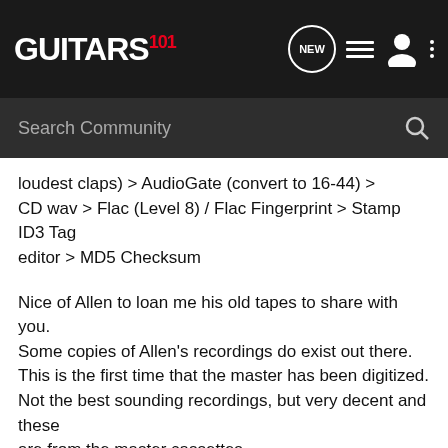GUITARS 101
loudest claps) > AudioGate (convert to 16-44) > CD wav > Flac (Level 8) / Flac Fingerprint > Stamp ID3 Tag editor > MD5 Checksum
Nice of Allen to loan me his old tapes to share with you. Some copies of Allen's recordings do exist out there. This is the first time that the master has been digitized. Not the best sounding recordings, but very decent and these are from the master cassettes. FYI, the first guy that calls out for "Politician" just after "Call My Name" ends would be the taper. Allen explained that the damaged section in "Crossroads" was due to someone walking past him and catching on the microphone.